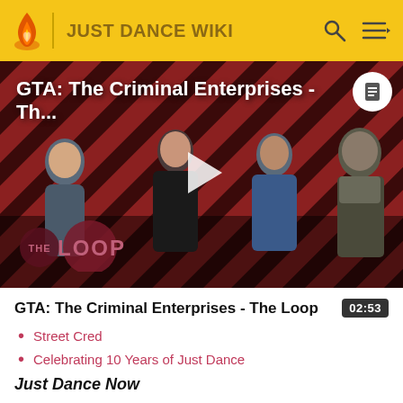JUST DANCE WIKI
[Figure (screenshot): Video thumbnail for GTA: The Criminal Enterprises - The Loop on Just Dance Wiki. Red and black diagonal stripe background with four GTA character figures, a play button in the center, The Loop logo at bottom left, and a document icon at top right.]
GTA: The Criminal Enterprises - The Loop
02:53
Street Cred
Celebrating 10 Years of Just Dance
Just Dance Now